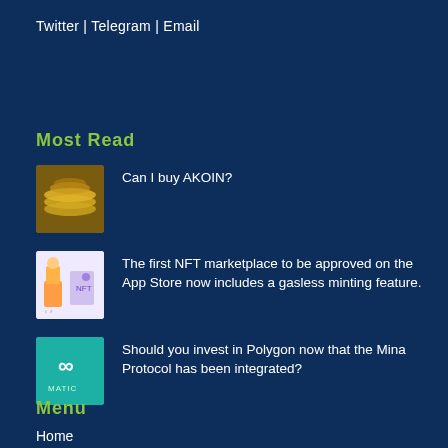Twitter | Telegram | Email
Most Read
Can I buy AKOIN?
The first NFT marketplace to be approved on the App Store now includes a gasless minting feature.
Should you invest in Polygon now that the Mina Protocol has been integrated?
Menu
Home